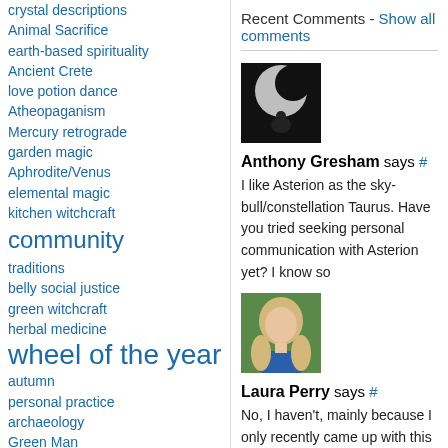crystal descriptions
Animal Sacrifice
earth-based spirituality
Ancient Crete
love potion
dance
Atheopaganism
Mercury retrograde
garden magic
Aphrodite/Venus
elemental magic
kitchen witchcraft
community
traditions
belly
social justice
green witchcraft
herbal medicine
wheel of the year
autumn
personal practice
archaeology
Green Man
Recent Comments - Show all comments
Anthony Gresham says #
I like Asterion as the sky-bull/constellation Taurus. Have you tried seeking personal communication with Asterion yet? I know so
Laura Perry says #
No, I haven't, mainly because I only recently came up with this correlation. I've been grappling with the identity of Asterion for